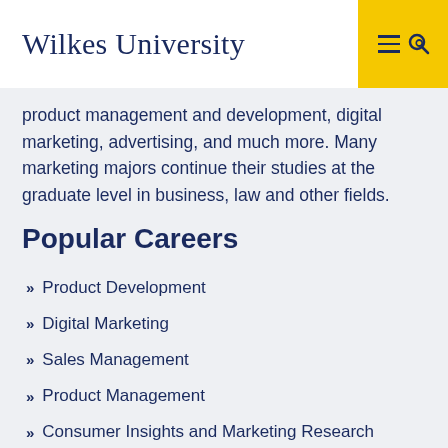Wilkes University
product management and development, digital marketing, advertising, and much more. Many marketing majors continue their studies at the graduate level in business, law and other fields.
Popular Careers
Product Development
Digital Marketing
Sales Management
Product Management
Consumer Insights and Marketing Research
Social Media Marketing